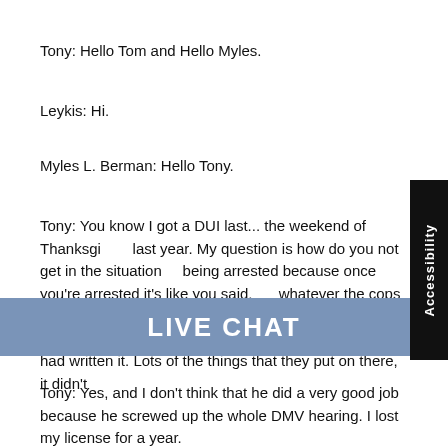Tony: Hello Tom and Hello Myles.
Leykis: Hi.
Myles L. Berman: Hello Tony.
Tony: You know I got a DUI last... the weekend of Thanksgiving last year. My question is how do you not get in the situation of being arrested because once you're arrested it's like you said, it's whatever the cops want to put on that report. When I read the report after I got bailed out of jail, it was like Stephen Spielberg had written it. Lots of the things that they put on there, it didn't
Myles Berman: Did you have a lawyer represent you?
Tony: Yes, and I don't think that he did a very good job because he screwed up the whole DMV hearing. I lost my license for a year.